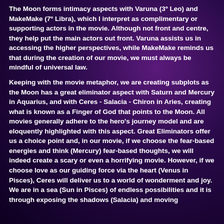The Moon forms intimacy aspects with Varuna (3º Leo) and MakeMake (7º Libra), which I interpret as complimentary or supporting actors in the movie. Although not front and centre, they help put the main actors out front. Varuna assists us in accessing the higher perspectives, while MakeMake reminds us that during the creation of our movie, we must always be mindful of universal law.
Keeping with the movie metaphor, we are creating subplots as the Moon has a great eliminator aspect with Saturn and Mercury in Aquarius, and with Ceres - Salacia - Chiron in Aries, creating what is known as a Finger of God that points to the Moon. All movies generally adhere to the hero's journey model and are eloquently highlighted with this aspect. Great Eliminators offer us a choice point and, in our movie, if we choose the fear-based energies and think (Mercury) fear-based thoughts, we will indeed create a scary or even a horrifying movie. However, if we choose love as our guiding force via the heart (Venus in Pisces), Ceres will deliver us to a world of wonderment and joy. We are in a sea (Sun in Pisces) of endless possibilities and it is through exposing the shadows (Salacia) and moving